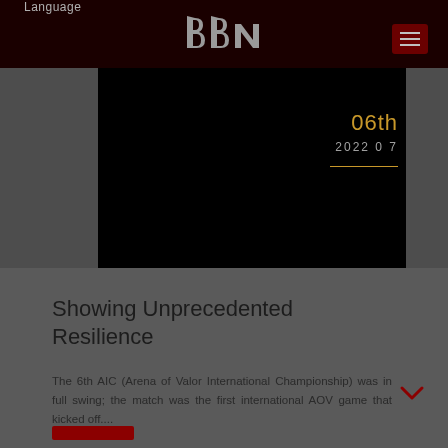Language
[Figure (logo): BBN logo — stylized letters 'bbn' in gray on dark red background]
[Figure (photo): Black image panel with date overlay showing '06th' in gold and '2022 07' in gray, with a gold horizontal divider line]
Showing Unprecedented Resilience
The 6th AIC (Arena of Valor International Championship) was in full swing; the match was the first international AOV game that kicked off....